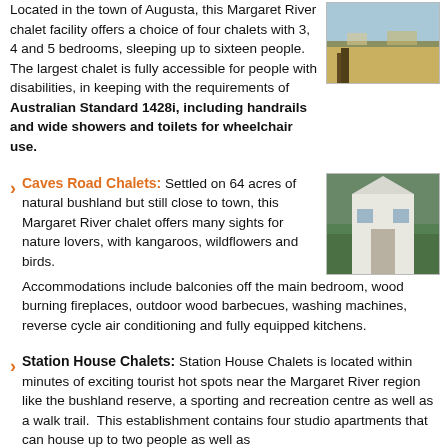Located in the town of Augusta, this Margaret River chalet facility offers a choice of four chalets with 3, 4 and 5 bedrooms, sleeping up to sixteen people. The largest chalet is fully accessible for people with disabilities, in keeping with the requirements of Australian Standard 1428i, including handrails and wide showers and toilets for wheelchair use.
[Figure (photo): Outdoor landscape photo showing a rural countryside view through a wooden frame or window]
Caves Road Chalets: Settled on 64 acres of natural bushland but still close to town, this Margaret River chalet offers many sights for nature lovers, with kangaroos, wildflowers and birds. Accommodations include balconies off the main bedroom, wood burning fireplaces, outdoor wood barbecues, washing machines, reverse cycle air conditioning and fully equipped kitchens.
[Figure (photo): Photo of a white chalet building with a triangular roof among trees]
Station House Chalets: Station House Chalets is located within minutes of exciting tourist hot spots near the Margaret River region like the bushland reserve, a sporting and recreation centre as well as a walk trail. This establishment contains four studio apartments that can house up to two people as well as